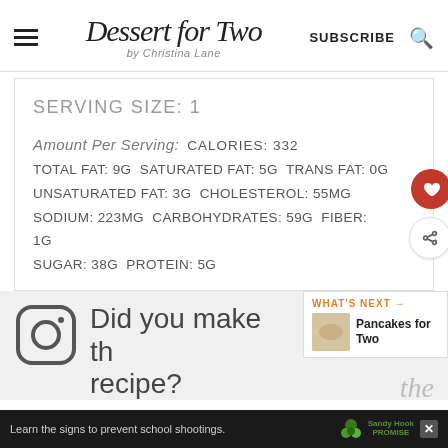Dessert for Two by Christina Lane | SUBSCRIBE
SERVING SIZE: 1
Amount Per Serving: CALORIES: 332 TOTAL FAT: 9g SATURATED FAT: 5g TRANS FAT: 0g UNSATURATED FAT: 3g CHOLESTEROL: 55mg SODIUM: 223mg CARBOHYDRATES: 59g FIBER: 1g SUGAR: 38g PROTEIN: 5g
Did you make the recipe?
Learn the signs to prevent school shootings.